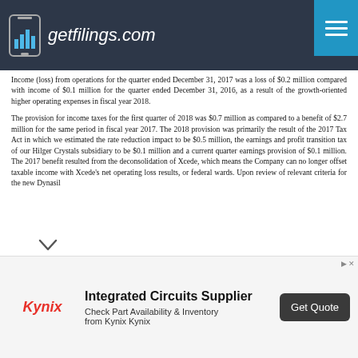getfilings.com
Income (loss) from operations for the quarter ended December 31, 2017 was a loss of $0.2 million compared with income of $0.1 million for the quarter ended December 31, 2016, as a result of the growth-oriented higher operating expenses in fiscal year 2018.
The provision for income taxes for the first quarter of 2018 was $0.7 million as compared to a benefit of $2.7 million for the same period in fiscal year 2017. The 2018 provision was primarily the result of the 2017 Tax Act in which we estimated the rate reduction impact to be $0.5 million, the earnings and profit transition tax of our Hilger Crystals subsidiary to be $0.1 million and a current quarter earnings provision of $0.1 million. The 2017 benefit resulted from the deconsolidation of Xcede, which means the Company can no longer offset taxable income with Xcede's net operating loss results, or federal wards. Upon review of relevant criteria for the new Dynasil